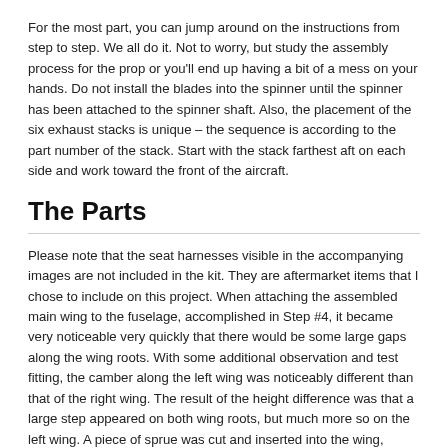For the most part, you can jump around on the instructions from step to step. We all do it. Not to worry, but study the assembly process for the prop or you'll end up having a bit of a mess on your hands. Do not install the blades into the spinner until the spinner has been attached to the spinner shaft. Also, the placement of the six exhaust stacks is unique – the sequence is according to the part number of the stack. Start with the stack farthest aft on each side and work toward the front of the aircraft.
The Parts
Please note that the seat harnesses visible in the accompanying images are not included in the kit. They are aftermarket items that I chose to include on this project. When attaching the assembled main wing to the fuselage, accomplished in Step #4, it became very noticeable very quickly that there would be some large gaps along the wing roots. With some additional observation and test fitting, the camber along the left wing was noticeably different than that of the right wing. The result of the height difference was that a large step appeared on both wing roots, but much more so on the left wing. A piece of sprue was cut and inserted into the wing, increasing the camber to make the step disappear. After all of this